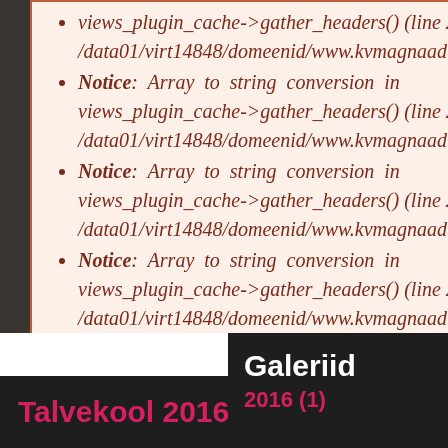views_plugin_cache->gather_headers() (line 218 of /data01/virt14848/domeenid/www.kvmagnaadid.ee/htdoc...
Notice: Array to string conversion in views_plugin_cache->gather_headers() (line 218 of /data01/virt14848/domeenid/www.kvmagnaadid.ee/htdoc...
Notice: Array to string conversion in views_plugin_cache->gather_headers() (line 218 of /data01/virt14848/domeenid/www.kvmagnaadid.ee/htdoc...
Notice: Array to string conversion in views_plugin_cache->gather_headers() (line 218 of /data01/virt14848/domeenid/www.kvmagnaadid.ee/htd...
Notice: Array to string conversion in views_plugin_cache->gather_headers() (line 218 of /data01/virt14848/domeenid/www.kvmagnaadid.ee/htd...
Talvekool 2016
Galeriid
2016 (1)